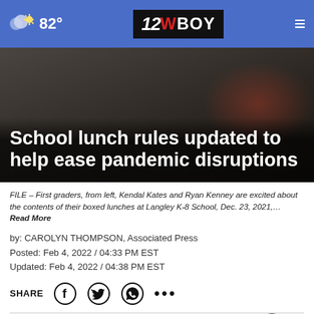82° | 12WBOY
School lunch rules updated to help ease pandemic disruptions
FILE – First graders, from left, Kendal Kates and Ryan Kenney are excited about the contents of their boxed lunches at Langley K-8 School, Dec. 23, 2021,… Read More
by: CAROLYN THOMPSON, Associated Press
Posted: Feb 4, 2022 / 04:33 PM EST
Updated: Feb 4, 2022 / 04:38 PM EST
SHARE
[Figure (photo): Advertisement banner for Chris Cuomo Coming This Fall to NewsNation]
This is a ...utdated.